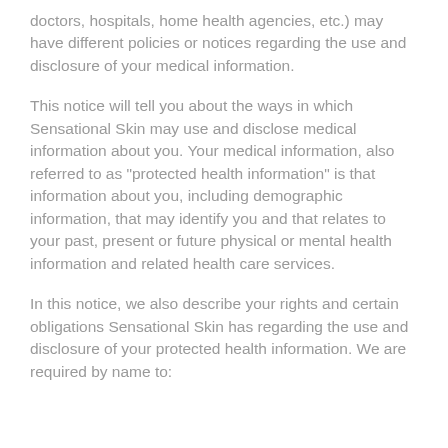doctors, hospitals, home health agencies, etc.) may have different policies or notices regarding the use and disclosure of your medical information.
This notice will tell you about the ways in which Sensational Skin may use and disclose medical information about you. Your medical information, also referred to as "protected health information" is that information about you, including demographic information, that may identify you and that relates to your past, present or future physical or mental health information and related health care services.
In this notice, we also describe your rights and certain obligations Sensational Skin has regarding the use and disclosure of your protected health information. We are required by name to: